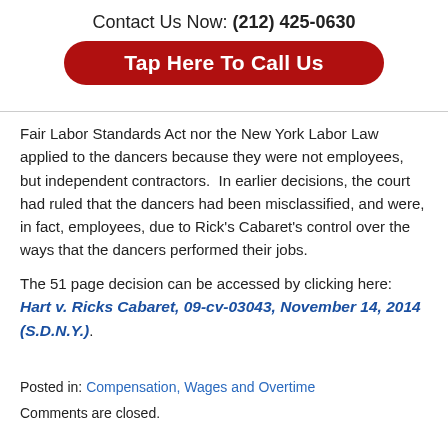Contact Us Now: (212) 425-0630
[Figure (other): Red rounded button labeled 'Tap Here To Call Us']
Fair Labor Standards Act nor the New York Labor Law applied to the dancers because they were not employees, but independent contractors.  In earlier decisions, the court had ruled that the dancers had been misclassified, and were, in fact, employees, due to Rick's Cabaret's control over the ways that the dancers performed their jobs.
The 51 page decision can be accessed by clicking here: Hart v. Ricks Cabaret, 09-cv-03043, November 14, 2014 (S.D.N.Y.).
Posted in: Compensation, Wages and Overtime
Comments are closed.